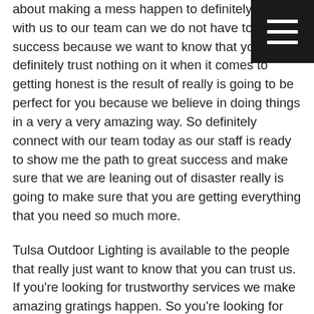[Figure (other): Black square menu/hamburger button icon with three horizontal white lines, positioned in the top-right corner]
about making a mess happen to definitely connect with us to our team can we do not have to great success because we want to know that you can definitely trust nothing on it when it comes to getting honest is the result of really is going to be perfect for you because we believe in doing things in a very a very amazing way. So definitely connect with our team today as our staff is ready to show me the path to great success and make sure that we are leaning out of disaster really is going to make sure that you are getting everything that you need so much more.
Tulsa Outdoor Lighting is available to the people that really just want to know that you can trust us. If you're looking for trustworthy services we make amazing gratings happen. So you're looking for people that really just want you to know that you can definitely trust that and they you can, the definitely connect with our team today because our stuff is all about it. Would you coaching, so that you can trust that when it comes